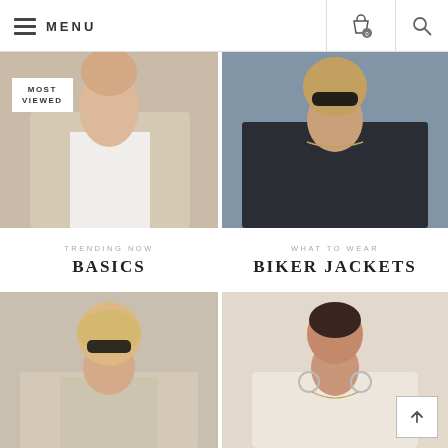MENU
[Figure (photo): Woman wearing a beige blazer over white t-shirt with 'MOST VIEWED' badge overlay]
[Figure (photo): Woman wearing dark sunglasses and a black biker jacket]
TRENDING NOW
BASICS
WHAT TO WEAR
BIKER JACKETS
[Figure (photo): Woman with bob haircut wearing black sunglasses and a beige knit cardigan]
[Figure (photo): Woman in ivory blouse with hoop earrings and layered necklaces]